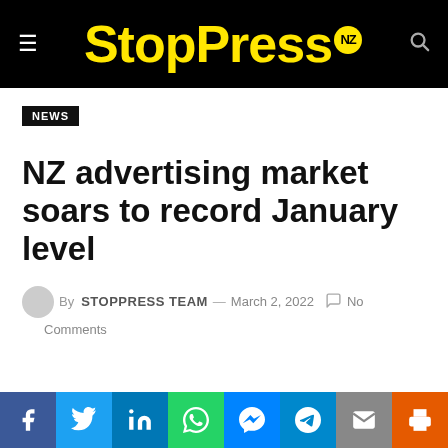StopPress NZ
NEWS
NZ advertising market soars to record January level
By STOPPRESS TEAM — March 2, 2022  No Comments